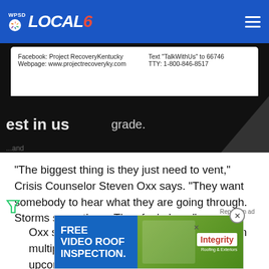WPSD LOCAL 6
[Figure (screenshot): Screenshot of a flyer or sign showing Facebook: Project Recovery Kentucky, Webpage: www.projectrecoveryky.com, Text TalkWithUs to 66746, TTY: 1-800-846-8517, with partial text 'est in us' and 'grade.' visible on a dark background below.]
"The biggest thing is they just need to vent," Crisis Counselor Steven Oxx says. "They want somebody to hear what they are going through. Storms scare them. They feel alone."
Oxx says the team wants to invite families in multiple counties to support groups. One upcoming meeting will be held at 5 p.m. on June 9 at the Graves County Baptist Association... suffering... nce.
[Figure (other): Advertisement overlay: FREE VIDEO ROOF INSPECTION with Integrity Roofing logo and aerial house photo.]